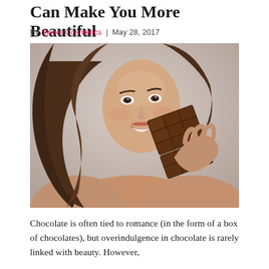Can Make You More Beautiful
By Sweet Cosmetics | May 28, 2017
[Figure (photo): A smiling young woman with long wavy brown hair eating a chocolate bar, photographed against a light grey background. She is bare-shouldered and holding a large chocolate bar up to her mouth.]
Chocolate is often tied to romance (in the form of a box of chocolates), but overindulgence in chocolate is rarely linked with beauty. However,